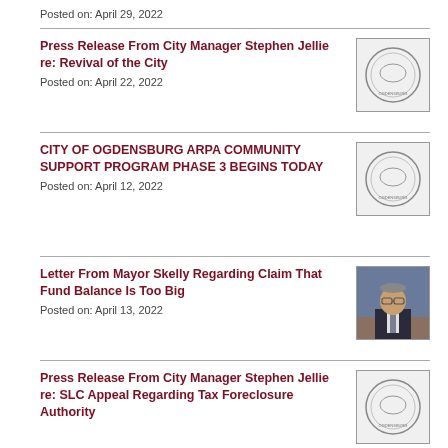Posted on: April 29, 2022
Press Release From City Manager Stephen Jellie re: Revival of the City
Posted on: April 22, 2022
CITY OF OGDENSBURG ARPA COMMUNITY SUPPORT PROGRAM PHASE 3 BEGINS TODAY
Posted on: April 12, 2022
Letter From Mayor Skelly Regarding Claim That Fund Balance Is Too Big
Posted on: April 13, 2022
Press Release From City Manager Stephen Jellie re: SLC Appeal Regarding Tax Foreclosure Authority